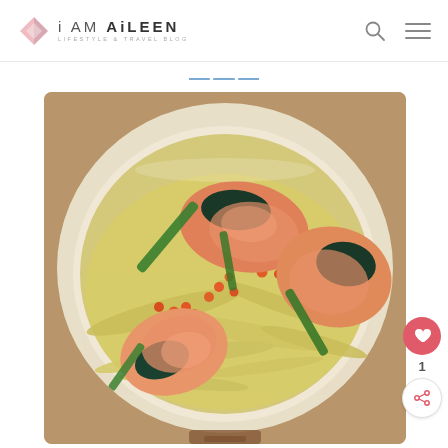i AM AiLEEN — LIFESTYLE & TRAVEL BLOG
[Figure (photo): A round wooden pot (donabe or similar clay pot) filled with salmon pieces with skin, salmon roe (ikura), green onion strips, and shredded napa cabbage, presented as a Japanese hot pot or rice bowl dish.]